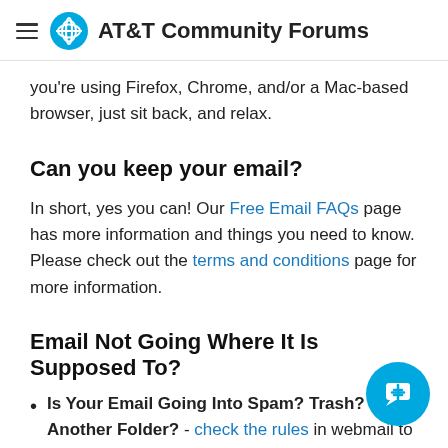AT&T Community Forums
you're using Firefox, Chrome, and/or a Mac-based browser, just sit back, and relax.
Can you keep your email?
In short, yes you can! Our Free Email FAQs page has more information and things you need to know. Please check out the terms and conditions page for more information.
Email Not Going Where It Is Supposed To?
Is Your Email Going Into Spam? Trash? Another Folder? - check the rules in webmail to make sure nothing is set up to forward
Hacked Email - If your email account was compromised, rules may have been set up without your knowledge.